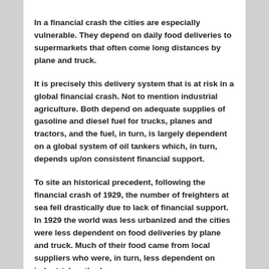In a financial crash the cities are especially vulnerable. They depend on daily food deliveries to supermarkets that often come long distances by plane and truck.
It is precisely this delivery system that is at risk in a global financial crash. Not to mention industrial agriculture. Both depend on adequate supplies of gasoline and diesel fuel for trucks, planes and tractors, and the fuel, in turn, is largely dependent on a global system of oil tankers which, in turn, depends up/on consistent financial support.
To site an historical precedent, following the financial crash of 1929, the number of freighters at sea fell drastically due to lack of financial support. In 1929 the world was less urbanized and the cities were less dependent on food deliveries by plane and truck. Much of their food came from local suppliers who were, in turn, less dependent on industrial methods.